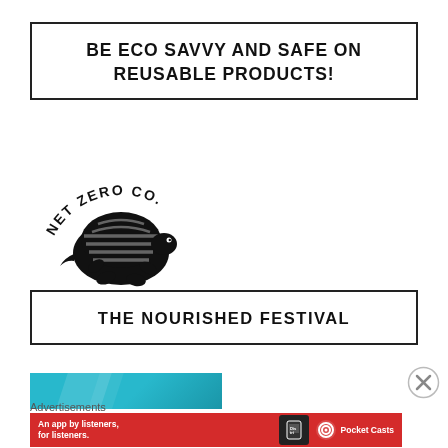BE ECO SAVVY AND SAFE ON REUSABLE PRODUCTS!
[Figure (logo): Net Zero Co. logo — a turtle with horizontal striped shell and text 'NET ZERO CO.' arched above]
THE NOURISHED FESTIVAL
[Figure (other): Teal/cyan diagonal striped banner]
Advertisements
[Figure (other): Pocket Casts advertisement banner: 'An app by listeners, for listeners.' with phone graphic and Pocket Casts logo on red background]